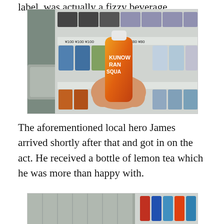label, was actually a fizzy beverage.
[Figure (photo): A hand holding an orange bottle of Kunow Ran Squash beverage in front of a Japanese vending machine with various drinks and price tags showing ¥80 and ¥100.]
The aforementioned local hero James arrived shortly after that and got in on the act. He received a bottle of lemon tea which he was more than happy with.
[Figure (photo): Partial view of a Japanese vending machine with colorful drinks visible including red and blue bottles.]